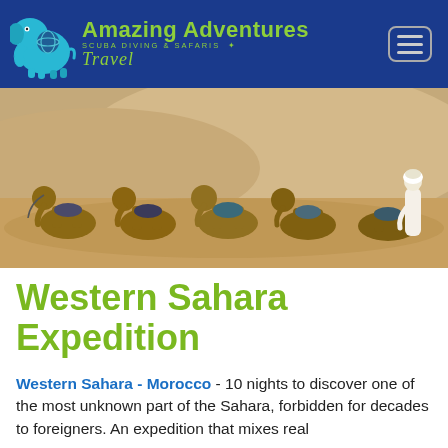[Figure (logo): Amazing Adventures Travel logo with blue elephant holding a globe, company name in green on dark blue navigation bar with hamburger menu button]
[Figure (photo): Panoramic desert photo showing five camels resting on sandy ground with a man in white robes standing beside them, Sahara desert dunes in background]
Western Sahara Expedition
Western Sahara - Morocco - 10 nights to discover one of the most unknown part of the Sahara, forbidden for decades to foreigners. An expedition that mixes real